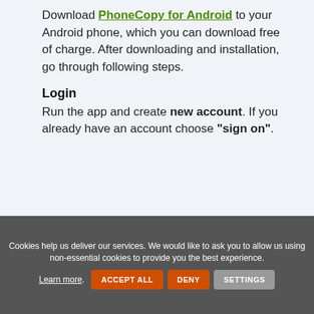Download PhoneCopy for Android to your Android phone, which you can download free of charge. After downloading and installation, go through following steps.
Login
Run the app and create new account. If you already have an account choose "sign on".
Cookies help us deliver our services. We would like to ask you to allow us using non-essential cookies to provide you the best experience.
Learn more. ACCEPT ALL DENY SETTINGS